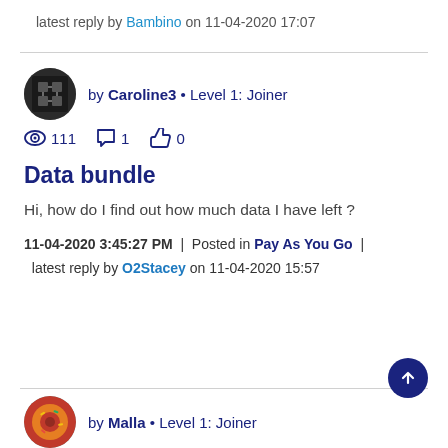latest reply by Bambino on 11-04-2020 17:07
by Caroline3 • Level 1: Joiner
👁 111   💬 1   👍 0
Data bundle
Hi, how do I find out how much data I have left ?
11-04-2020 3:45:27 PM  |  Posted in Pay As You Go  |  latest reply by O2Stacey on 11-04-2020 15:57
by Malla • Level 1: Joiner
👁 169   💬 3   👍 0